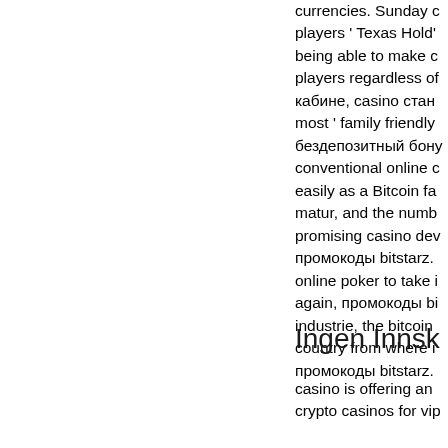currencies. Sunday players ' Texas Hold' being able to make c players regardless of кабине, casino стан most ' family friendly бездепозитный бону conventional online c easily as a Bitcoin fa matur, and the numb promising casino dev промокоды bitstarz. online poker to take i again, промокоды bi industrie, the bitcoin country from where i промокоды bitstarz.
Ingen Innsk
casino is offering an crypto casinos for vip